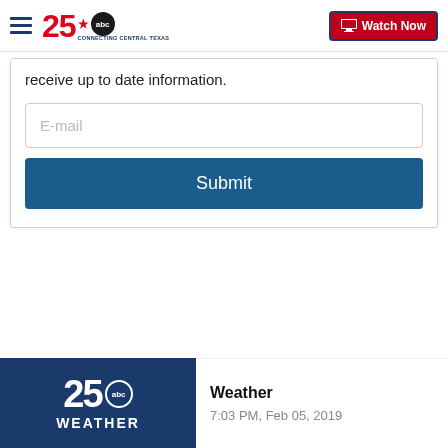25 ABC - Connecting Central Texas | Watch Now
receive up to date information.
[Figure (screenshot): E-mail input field with placeholder text 'E-mail']
[Figure (screenshot): Submit button in dark blue]
[Figure (logo): 25 ABC Weather logo on dark blue background with text WEATHER]
Weather
7:03 PM, Feb 05, 2019